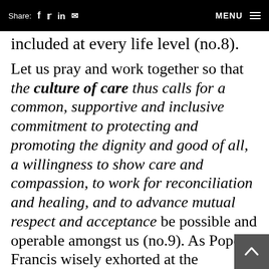Share: f t in [mail] MENU
included at every life level (no.8).
Let us pray and work together so that the culture of care thus calls for a common, supportive and inclusive commitment to protecting and promoting the dignity and good of all, a willingness to show care and compassion, to work for reconciliation and healing, and to advance mutual respect and acceptance be possible and operable amongst us (no.9). As Pope Francis wisely exhorted at the